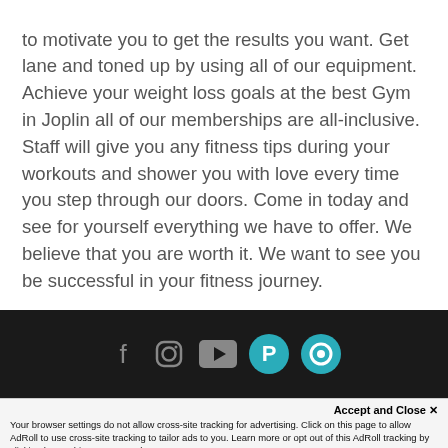to motivate you to get the results you want. Get lane and toned up by using all of our equipment. Achieve your weight loss goals at the best Gym in Joplin all of our memberships are all-inclusive. Staff will give you any fitness tips during your workouts and shower you with love every time you step through our doors. Come in today and see for yourself everything we have to offer. We believe that you are worth it. We want to see you be successful in your fitness journey.
[Figure (other): Dark footer bar with social media icons: Facebook, Instagram, YouTube, and two teal circular icons (Parler-style icons)]
Accept and Close ✕
Your browser settings do not allow cross-site tracking for advertising. Click on this page to allow AdRoll to use cross-site tracking to tailor ads to you. Learn more or opt out of this AdRoll tracking by clicking here. This message only appears once.